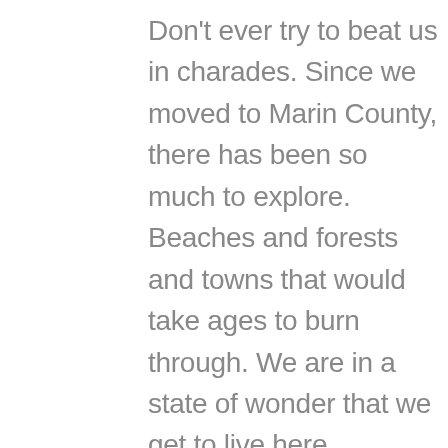Don't ever try to beat us in charades. Since we moved to Marin County, there has been so much to explore. Beaches and forests and towns that would take ages to burn through. We are in a state of wonder that we get to live here.
My daughter is a natural and gifted visual artist. She takes me somewhere else with her drawings, and she in turn teaches her little brother so much, if only in the act of making, all the time. Paper and pencils and markers and ink could keep them going for years. And